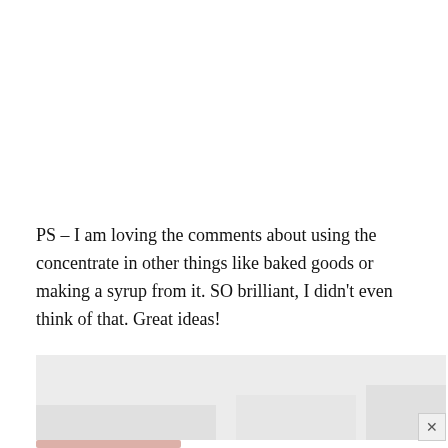PS – I am loving the comments about using the concentrate in other things like baked goods or making a syrup from it. SO brilliant, I didn't even think of that. Great ideas!
[Figure (other): Advertisement placeholder block with light gray background and a close (×) button in the bottom-right corner, and a partially visible blurred image strip at the bottom.]